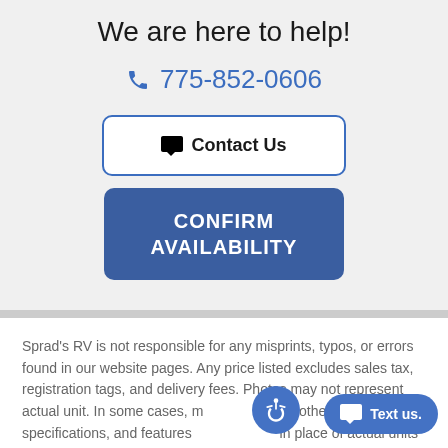We are here to help!
775-852-0606
💬 Contact Us
CONFIRM AVAILABILITY
Sprad's RV is not responsible for any misprints, typos, or errors found in our website pages. Any price listed excludes sales tax, registration tags, and delivery fees. Photos may not represent actual unit. In some cases, manufacturer (or other pictures), specifications, and features may be used in place of actual units on our lot. Please contact us @775-